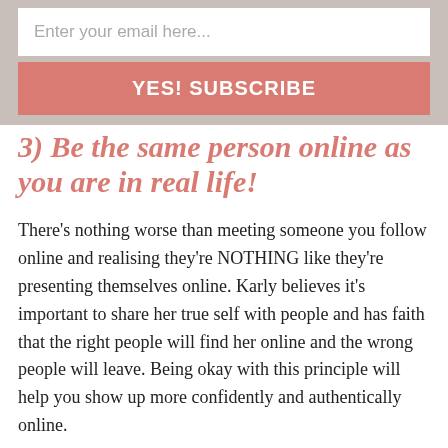Enter your email here...
YES! SUBSCRIBE
3) Be the same person online as you are in real life!
There's nothing worse than meeting someone you follow online and realising they're NOTHING like they're presenting themselves online. Karly believes it's important to share her true self with people and has faith that the right people will find her online and the wrong people will leave. Being okay with this principle will help you show up more confidently and authentically online.
4) Try everything when you're just starting out